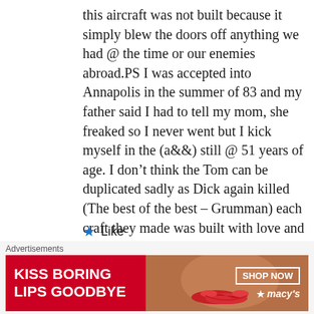this aircraft was not built because it simply blew the doors off anything we had @ the time or our enemies abroad.PS I was accepted into Annapolis in the summer of 83 and my father said I had to tell my mom, she freaked so I never went but I kick myself in the (a&&) still @ 51 years of age. I don't think the Tom can be duplicated sadly as Dick again killed (The best of the best – Grumman) each craft they made was built with love and Long Island pride (family built) you can't seem to find that anymore today..Al
★ Like
Reply
[Figure (other): Advertisement banner for Macy's with text 'KISS BORING LIPS GOODBYE', a photo of a woman's face with red lipstick, a 'SHOP NOW' button, and the Macy's star logo.]